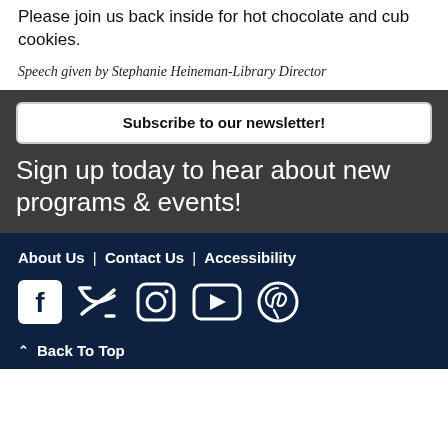Please join us back inside for hot chocolate and cub cookies.
Speech given by Stephanie Heineman-Library Director
Subscribe to our newsletter!
Sign up today to hear about new programs & events!
About Us | Contact Us | Accessibility
[Figure (illustration): Social media icons: Facebook, Twitter, Instagram, YouTube, Pinterest]
^ Back To Top